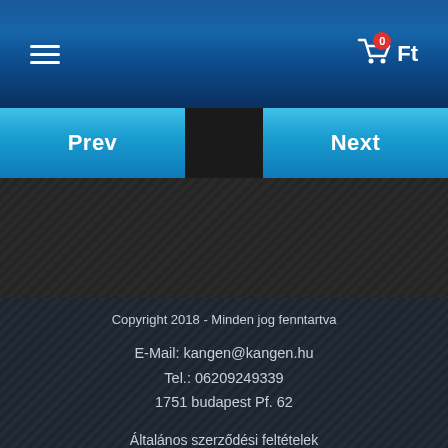[Figure (screenshot): Mobile app header with hamburger menu icon on the left and shopping cart showing 0 Ft on the right, on a blue gradient background]
[Figure (screenshot): Navigation bar with Prev button on left and Next button on right, dark center]
Copyright 2018 - Minden jog fenntartva
E-Mail: kangen@kangen.hu
Tel.: 06209249339
1751 budapest Pf. 62
Általános szerződési feltételek
Adatvédelmi tájékoztató
Fizetés és szállítás